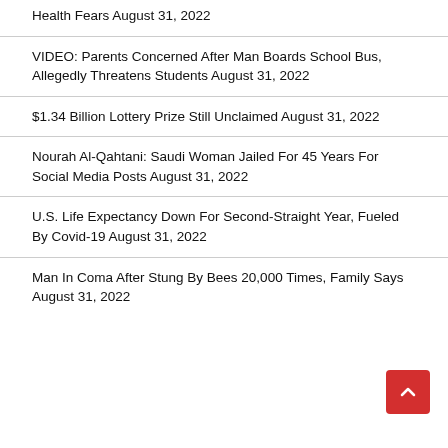Health Fears August 31, 2022
VIDEO: Parents Concerned After Man Boards School Bus, Allegedly Threatens Students August 31, 2022
$1.34 Billion Lottery Prize Still Unclaimed August 31, 2022
Nourah Al-Qahtani: Saudi Woman Jailed For 45 Years For Social Media Posts August 31, 2022
U.S. Life Expectancy Down For Second-Straight Year, Fueled By Covid-19 August 31, 2022
Man In Coma After Stung By Bees 20,000 Times, Family Says August 31, 2022